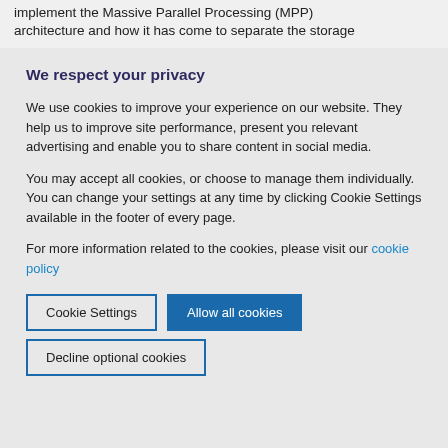implement the Massive Parallel Processing (MPP) architecture and how it has come to separate the storage
We respect your privacy
We use cookies to improve your experience on our website. They help us to improve site performance, present you relevant advertising and enable you to share content in social media.
You may accept all cookies, or choose to manage them individually. You can change your settings at any time by clicking Cookie Settings available in the footer of every page.
For more information related to the cookies, please visit our cookie policy
Cookie Settings
Allow all cookies
Decline optional cookies